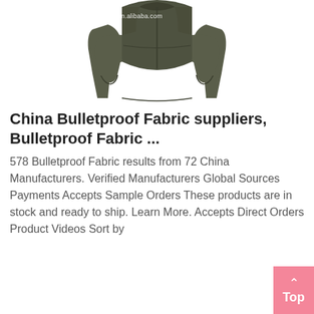[Figure (photo): Back view of an olive/dark green military-style bulletproof jacket from ywwisdom.en.alibaba.com]
China Bulletproof Fabric suppliers, Bulletproof Fabric ...
578 Bulletproof Fabric results from 72 China Manufacturers. Verified Manufacturers Global Sources Payments Accepts Sample Orders These products are in stock and ready to ship. Learn More. Accepts Direct Orders Product Videos Sort by